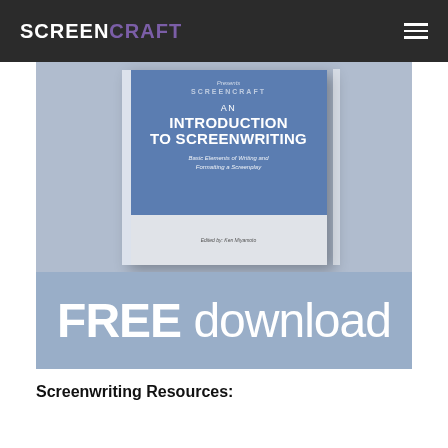SCREENCRAFT
[Figure (illustration): Book cover for 'An Introduction to Screenwriting: Basic Elements of Writing and Formatting a Screenplay' edited by Ken Miyamoto, displayed against a blue-grey background, with a 'FREE download' banner below in light blue]
Screenwriting Resources: